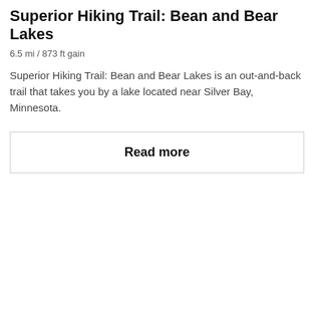Superior Hiking Trail: Bean and Bear Lakes
6.5 mi / 873 ft gain
Superior Hiking Trail: Bean and Bear Lakes is an out-and-back trail that takes you by a lake located near Silver Bay, Minnesota.
Read more